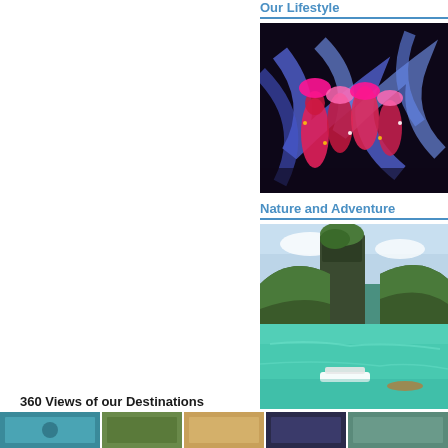Our Lifestyle
[Figure (photo): Colorful traditional dancers with motion-blurred blue light trails on dark background]
Nature and Adventure
[Figure (photo): Aerial view of tall karst rock formations surrounded by turquoise lagoon water with small boats]
360 Views of our Destinations
[Figure (photo): Row of thumbnail photos showing various destinations]